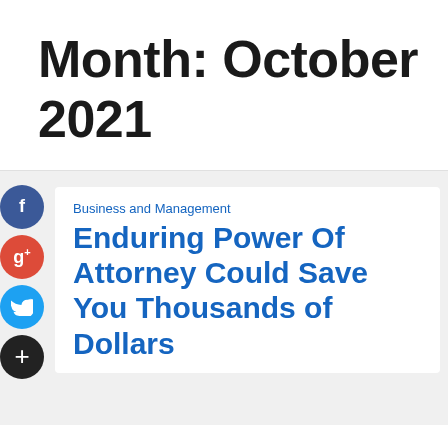Month: October 2021
Business and Management
Enduring Power Of Attorney Could Save You Thousands of Dollars